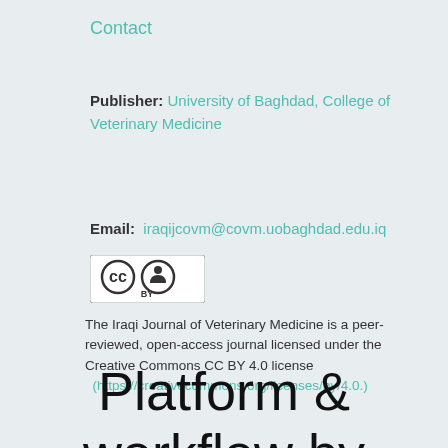Contact
Publisher: University of Baghdad, College of Veterinary Medicine
Email: iraqijcovm@covm.uobaghdad.edu.iq
[Figure (logo): Creative Commons CC BY license logo]
The Iraqi Journal of Veterinary Medicine is a peer-reviewed, open-access journal licensed under the Creative Commons CC BY 4.0 license (https://creativecommons.org/licenses/by/4.0.)
Platform & workflow by